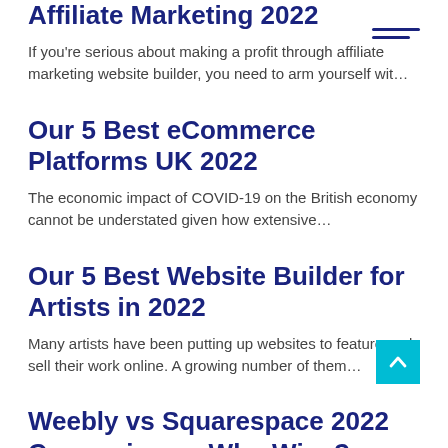Affiliate Marketing 2022
If you're serious about making a profit through affiliate marketing website builder, you need to arm yourself wit…
Our 5 Best eCommerce Platforms UK 2022
The economic impact of COVID-19 on the British economy cannot be understated given how extensive…
Our 5 Best Website Builder for Artists in 2022
Many artists have been putting up websites to feature and sell their work online. A growing number of them…
Weebly vs Squarespace 2022 Comparison – Who Wins?